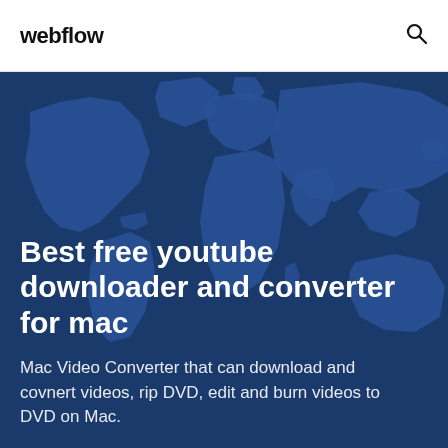webflow
Best free youtube downloader and converter for mac
Mac Video Converter that can download and covnert videos, rip DVD, edit and burn videos to DVD on Mac.